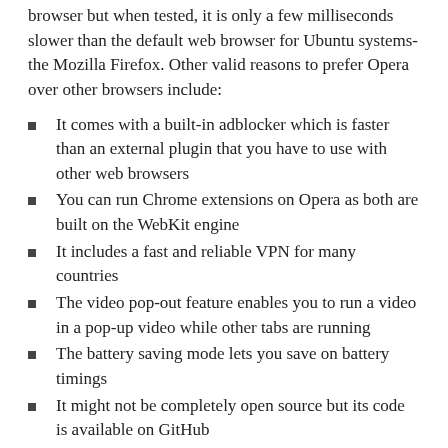browser but when tested, it is only a few milliseconds slower than the default web browser for Ubuntu systems- the Mozilla Firefox. Other valid reasons to prefer Opera over other browsers include:
It comes with a built-in adblocker which is faster than an external plugin that you have to use with other web browsers
You can run Chrome extensions on Opera as both are built on the WebKit engine
It includes a fast and reliable VPN for many countries
The video pop-out feature enables you to run a video in a pop-up video while other tabs are running
The battery saving mode lets you save on battery timings
It might not be completely open source but its code is available on GitHub
It supports fast video loading even for slower internet connections
No matter what is your reason for installing Opera, we will guide you on how to do so through this article. This article